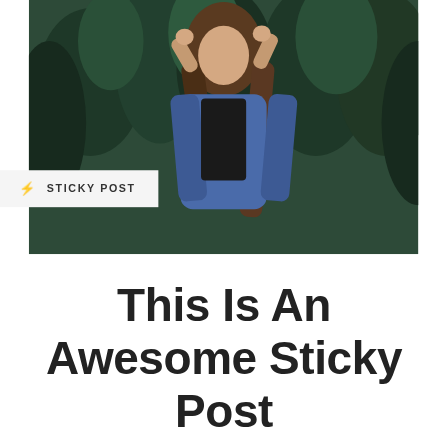[Figure (photo): Young woman with long hair in a blue denim jacket, photographed outdoors in front of green pine trees, looking upward with hands near her head.]
⚡ STICKY POST
This Is An Awesome Sticky Post
JUNE 6, 2016
NOVA WEB DESIGN
BLOG   0
A wonderful serenity has taken possession of my entire